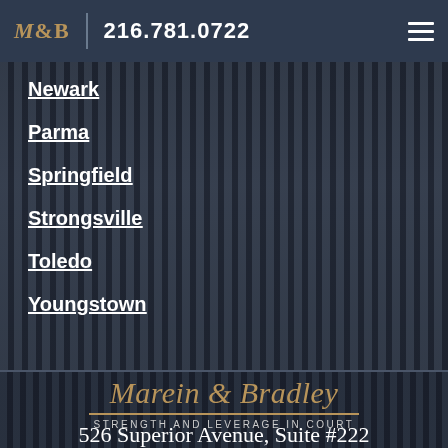M&B | 216.781.0722
Newark
Parma
Springfield
Strongsville
Toledo
Youngstown
Marein & Bradley
STRENGTH AND LEVERAGE IN COURT
526 Superior Avenue, Suite #222